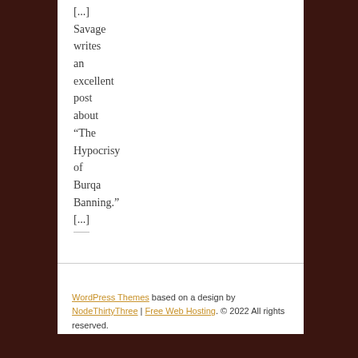[...] Savage writes an excellent post about “The Hypocrisy of Burqa Banning.” [...]
WordPress Themes based on a design by NodeThirtyThree | Free Web Hosting. © 2022 All rights reserved.